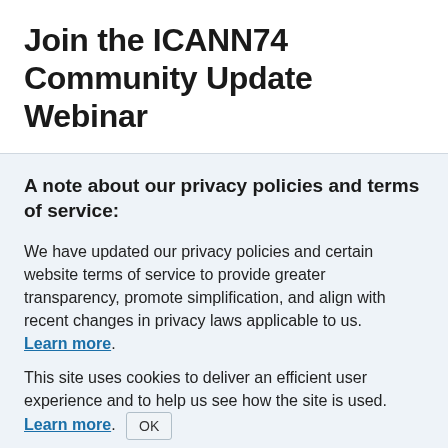Join the ICANN74 Community Update Webinar
A note about our privacy policies and terms of service:
We have updated our privacy policies and certain website terms of service to provide greater transparency, promote simplification, and align with recent changes in privacy laws applicable to us. Learn more.
This site uses cookies to deliver an efficient user experience and to help us see how the site is used. Learn more. OK